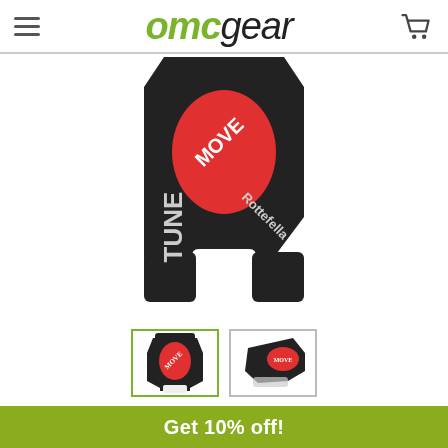omcgear
[Figure (photo): Close-up product photo of a Rottefella Move Tune ski binding tool, black with a red circular button labeled MOVE, with TUNE text on the body and Rottefella logo.]
[Figure (photo): Thumbnail 1: Front view of Rottefella Move Tune binding tool]
[Figure (photo): Thumbnail 2: Side angle view of Rottefella Move binding]
Get 10% off!